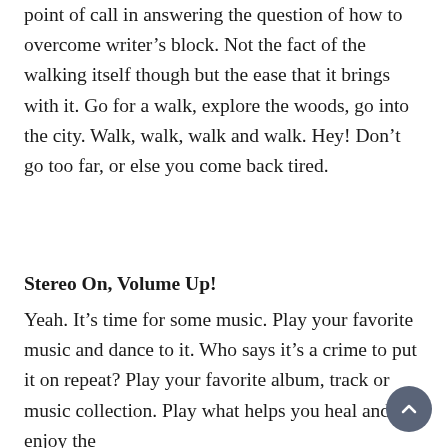point of call in answering the question of how to overcome writer's block. Not the fact of the walking itself though but the ease that it brings with it. Go for a walk, explore the woods, go into the city. Walk, walk, walk and walk. Hey! Don't go too far, or else you come back tired.
Stereo On, Volume Up!
Yeah. It's time for some music. Play your favorite music and dance to it. Who says it's a crime to put it on repeat? Play your favorite album, track or music collection. Play what helps you heal and enjoy the